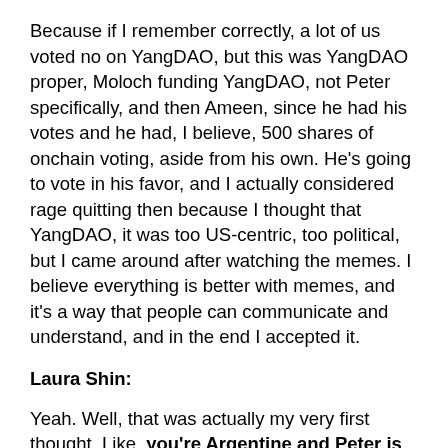Because if I remember correctly, a lot of us voted no on YangDAO, but this was YangDAO proper, Moloch funding YangDAO, not Peter specifically, and then Ameen, since he had his votes and he had, I believe, 500 shares of onchain voting, aside from his own. He's going to vote in his favor, and I actually considered rage quitting then because I thought that YangDAO, it was too US-centric, too political, but I came around after watching the memes. I believe everything is better with memes, and it's a way that people can communicate and understand, and in the end I accepted it.
Laura Shin:
Yeah. Well, that was actually my very first thought. Like, you're Argentine and Peter is Australian, so I was like, why would you guys care about doing the YangDAO, but now you're saying that you're glad that you guys did that?